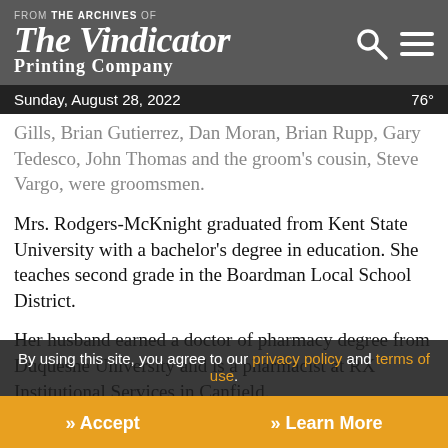FROM THE ARCHIVES OF The Vindicator Printing Company
Sunday, August 28, 2022  76°
Gills, Brian Gutierrez, Dan Moran, Brian Rupp, Gary Tedesco, John Thomas and the groom's cousin, Steve Vargo, were groomsmen.
Mrs. Rodgers-McKnight graduated from Kent State University with a bachelor's degree in education. She teaches second grade in the Boardman Local School District.
Her husband earned a doctor of pharmacy degree from Duquesne University and is a pharmacist at RX Institutional Services in Canfield.
By using this site, you agree to our privacy policy and terms of use.
» Accept   » Learn More